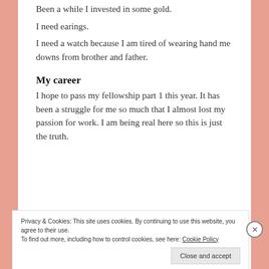Been a while I invested in some gold.
I need earings.
I need a watch because I am tired of wearing hand me downs from brother and father.
My career
I hope to pass my fellowship part 1 this year. It has been a struggle for me so much that I almost lost my passion for work. I am being real here so this is just the truth.
[Figure (photo): Two side-by-side photos showing the top of a person's head with dark hair, taken indoors with a wooden background and an air conditioner visible.]
Privacy & Cookies: This site uses cookies. By continuing to use this website, you agree to their use.
To find out more, including how to control cookies, see here: Cookie Policy
Close and accept